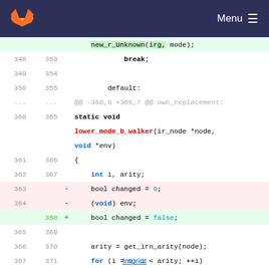[Figure (screenshot): GitLab navbar with logo and Menu hamburger icon on dark blue background]
Code diff view showing lower_mode_b_walker function changes:
new_r_Unknown(irg, mode);
348 353   break;
349 354   (blank)
350 355   default:
...  ...  @@ -360,8 +365,7 @@ own_replacement:
360 365   static void
       lower_mode_b_walker(ir_node *node,
       void *env)
361 366   {
362 367       int i, arity;
363  -    bool changed = 0;
364  -    (void) env;
    368  +  bool changed = false;
365 369   (blank)
366 370       arity = get_irn_arity(node);
367 371       for (i = 0; i < arity; ++i)
       {
...  ...  @@ -396,21 +400,27 @@ static void
       lower_mode_b_walker(ir_node *node,
Imprint